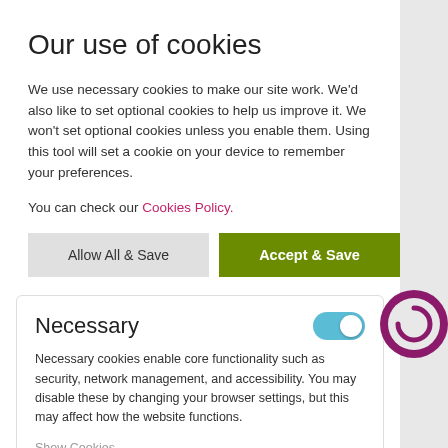Our use of cookies
We use necessary cookies to make our site work. We'd also like to set optional cookies to help us improve it. We won't set optional cookies unless you enable them. Using this tool will set a cookie on your device to remember your preferences.
You can check our Cookies Policy.
Allow All & Save
Accept & Save
Necessary
Necessary cookies enable core functionality such as security, network management, and accessibility. You may disable these by changing your browser settings, but this may affect how the website functions.
Show Cookies